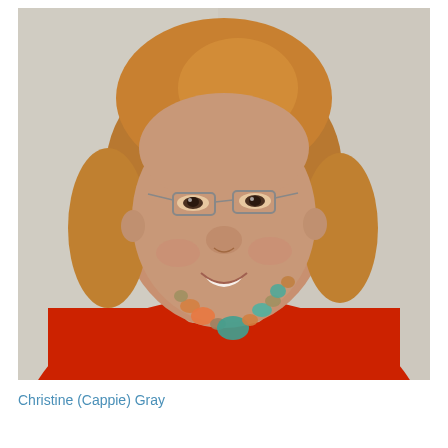[Figure (photo): Headshot photo of a woman with short reddish-blonde hair, wearing glasses and a red top with a colorful beaded necklace featuring turquoise, orange, and gold beads. She is smiling against a light grey/white background.]
Christine (Cappie) Gray